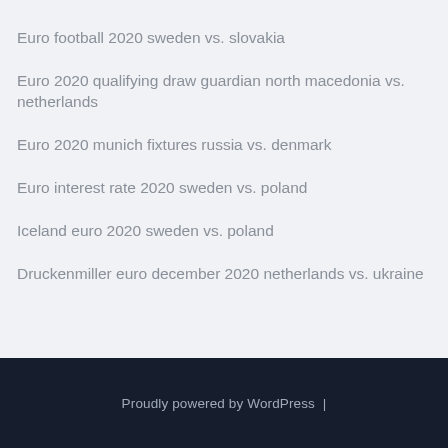Euro football 2020 sweden vs. slovakia
Euro 2020 qualifying draw guardian north macedonia vs. netherlands
Euro 2020 munich fixtures russia vs. denmark
Euro interest rate 2020 sweden vs. poland
Iceland euro 2020 sweden vs. poland
Druckenmiller euro december 2020 netherlands vs. ukraine
Proudly powered by WordPress |